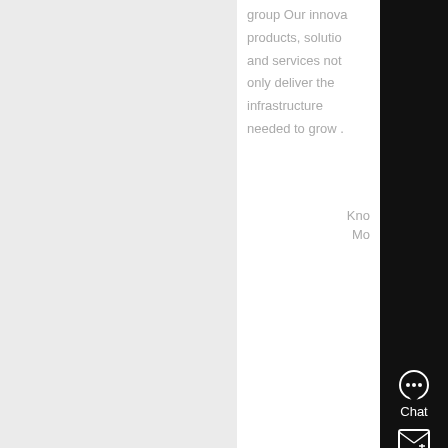group Our innovative products, solutions and services not only deliver the infrastructure needed to grow .
Know More
[Figure (photo): Construction site showing collapsed or damaged building structure with debris, trees in background, workers visible]
Lafarge in India - Cement, concrete, aggregates
Lafarge world